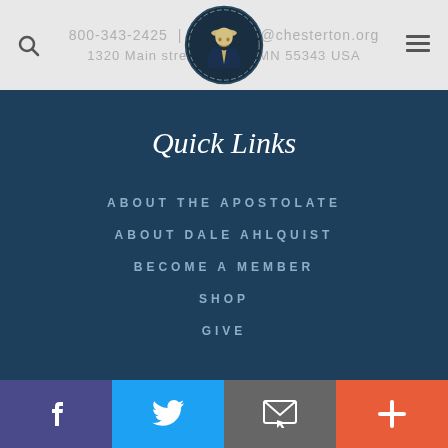800-343-2425 | @chesterton.org
1320 Main street, MN 55343 USA
Quick Links
ABOUT THE APOSTOLATE
ABOUT DALE AHLQUIST
BECOME A MEMBER
SHOP
GIVE
Facebook | Twitter | Email | More